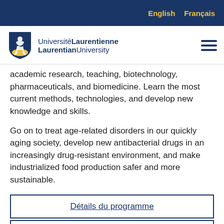English  Français
[Figure (logo): Laurentian University / Université Laurentienne shield logo with text]
academic research, teaching, biotechnology, pharmaceuticals, and biomedicine. Learn the most current methods, technologies, and develop new knowledge and skills.
Go on to treat age-related disorders in our quickly aging society, develop new antibacterial drugs in an increasingly drug-resistant environment, and make industrialized food production safer and more sustainable.
Détails du programme
Ce programme vous intéresse?